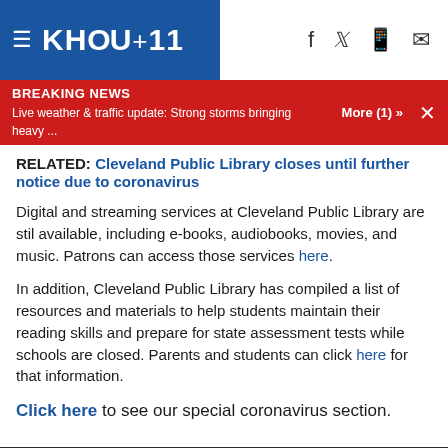KHOU 11
BREAKING NEWS
Live weather & traffic update: Strong storms bringing heavy ... More (1) »
RELATED: Cleveland Public Library closes until further notice due to coronavirus
Digital and streaming services at Cleveland Public Library are stil available, including e-books, audiobooks, movies, and music. Patrons can access those services here.
In addition, Cleveland Public Library has compiled a list of resources and materials to help students maintain their reading skills and prepare for state assessment tests while schools are closed. Parents and students can click here for that information.
Click here to see our special coronavirus section.
[Figure (other): Dark video placeholder area at bottom of page]